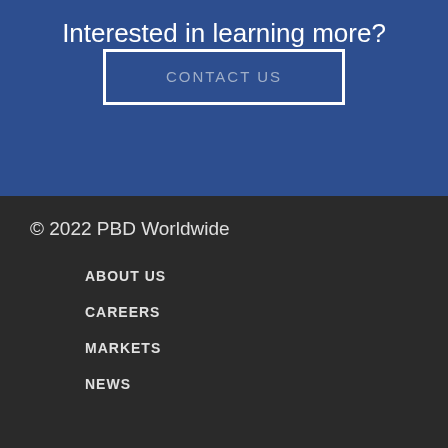Interested in learning more?
CONTACT US
© 2022 PBD Worldwide
ABOUT US
CAREERS
MARKETS
NEWS